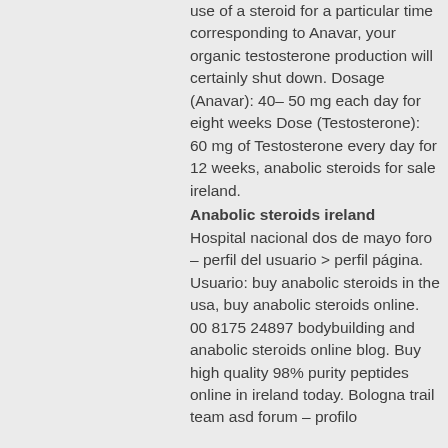use of a steroid for a particular time corresponding to Anavar, your organic testosterone production will certainly shut down. Dosage (Anavar): 40– 50 mg each day for eight weeks Dose (Testosterone): 60 mg of Testosterone every day for 12 weeks, anabolic steroids for sale ireland.
Anabolic steroids ireland
Hospital nacional dos de mayo foro – perfil del usuario > perfil página. Usuario: buy anabolic steroids in the usa, buy anabolic steroids online. 00 8175 24897 bodybuilding and anabolic steroids online blog. Buy high quality 98% purity peptides online in ireland today. Bologna trail team asd forum – profilo